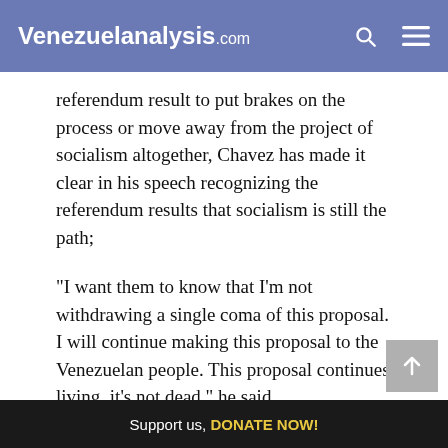Venezuelanalysis.com
referendum result to put brakes on the process or move away from the project of socialism altogether, Chavez has made it clear in his speech recognizing the referendum results that socialism is still the path;
"I want them to know that I'm not withdrawing a single coma of this proposal. I will continue making this proposal to the Venezuelan people. This proposal continues living, it's not dead," he said.
From the activist grass roots, the overwhelming
Support us, DONATE NOW!